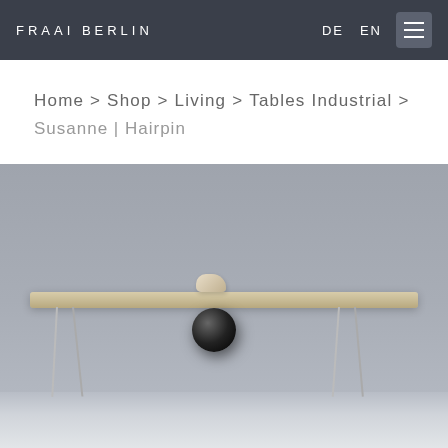FRAAI BERLIN  DE  EN
Home > Shop > Living > Tables Industrial > Susanne | Hairpin
[Figure (photo): Product photo of the Susanne Hairpin table — a wide wooden tabletop with natural grain finish supported by slender silver hairpin legs, with a small black sphere decoration hanging below the center of the table and a small decorative object on top. Background is medium gray, floor is light gray.]